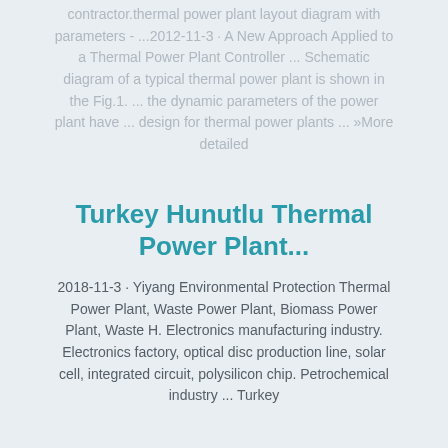contractor.thermal power plant layout diagram with parameters - ...2012-11-3 · A New Approach Applied to a Thermal Power Plant Controller ... Schematic diagram of a typical thermal power plant is shown in the Fig.1. ... the dynamic parameters of the power plant have ... design for thermal power plants ... »More detailed
Turkey Hunutlu Thermal Power Plant...
2018-11-3 · Yiyang Environmental Protection Thermal Power Plant, Waste Power Plant, Biomass Power Plant, Waste H. Electronics manufacturing industry. Electronics factory, optical disc production line, solar cell, integrated circuit, polysilicon chip. Petrochemical industry ... Turkey